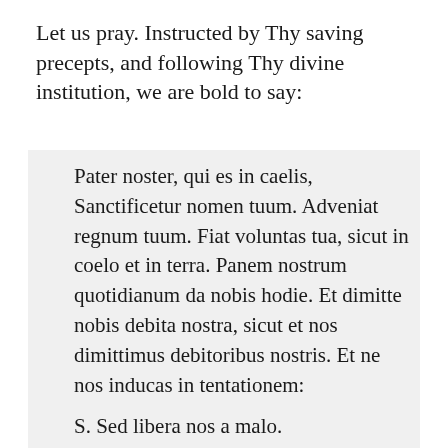Let us pray. Instructed by Thy saving precepts, and following Thy divine institution, we are bold to say:
Pater noster, qui es in caelis, Sanctificetur nomen tuum. Adveniat regnum tuum. Fiat voluntas tua, sicut in coelo et in terra. Panem nostrum quotidianum da nobis hodie. Et dimitte nobis debita nostra, sicut et nos dimittimus debitoribus nostris. Et ne nos inducas in tentationem:
S. Sed libera nos a malo.